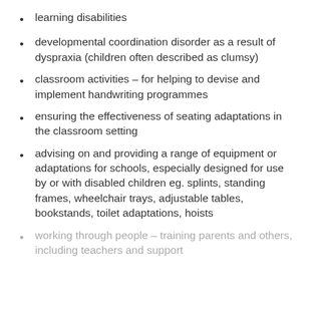learning disabilities
developmental coordination disorder as a result of dyspraxia (children often described as clumsy)
classroom activities – for helping to devise and implement handwriting programmes
ensuring the effectiveness of seating adaptations in the classroom setting
advising on and providing a range of equipment or adaptations for schools, especially designed for use by or with disabled children eg. splints, standing frames, wheelchair trays, adjustable tables, bookstands, toilet adaptations, hoists
working through people – training parents and others, including teachers and support